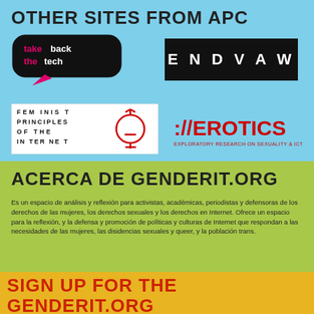OTHER SITES FROM APC
[Figure (logo): Take Back the Tech logo — black speech bubble with pink arrow and pink/white/black text]
[Figure (logo): ENDVAW logo — black rectangle with white bold spaced letters ENDVAW]
[Figure (logo): Feminist Principles of the Internet — text-based logo with decorative gender symbol]
[Figure (logo): ://EROTICS — Exploratory Research on Sexuality & ICTs logo in red]
ACERCA DE GENDERIT.ORG
Es un espacio de análisis y reflexión para activistas, académicas, periodistas y defensoras de los derechos de las mujeres, los derechos sexuales y los derechos en Internet. Ofrece un espacio para la reflexión, y la defensa y promoción de políticas y culturas de Internet que respondan a las necesidades de las mujeres, las disidencias sexuales y queer, y la población trans.
SIGN UP FOR THE GENDERIT.ORG BULLETIN